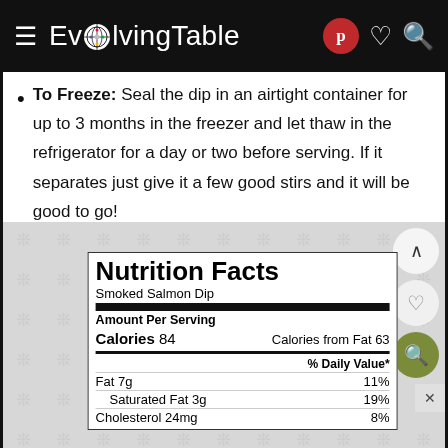EvolvingTable
To Freeze: Seal the dip in an airtight container for up to 3 months in the freezer and let thaw in the refrigerator for a day or two before serving. If it separates just give it a few good stirs and it will be good to go!
| Nutrition Facts |  |
| --- | --- |
| Smoked Salmon Dip |  |
| Amount Per Serving |  |
| Calories 84 | Calories from Fat 63 |
|  | % Daily Value* |
| Fat 7g | 11% |
| Saturated Fat 3g | 19% |
| Cholesterol 24mg | 8% |